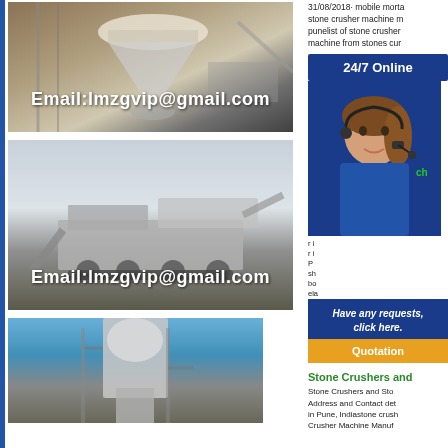[Figure (photo): Industrial cone crusher machine with email overlay text: Email:lmzgvip@gmail.com]
[Figure (photo): Mobile stone crusher machine on a field with email overlay text: Email:lmzgvip@gmail.com]
[Figure (photo): Large industrial crusher tower against blue sky]
31/08/2018· mobile morta stone crusher machine m punelist of stone crusher machine from stones cur
[Figure (infographic): 24/7 Online banner with customer service agent photo wearing headset, Have any requests, click here. button and Quotation button]
r i r i P sh bo ela
Stone Crushers and
Stone Crushers and Sto Address and Contact det in Pune, Indiastone crush Crusher Machine Manuf